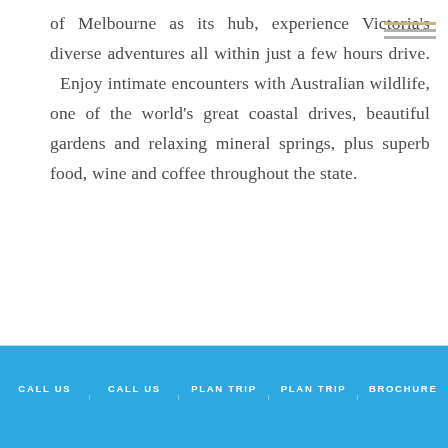of Melbourne as its hub, experience Victoria's diverse adventures all within just a few hours drive. Enjoy intimate encounters with Australian wildlife, one of the world's great coastal drives, beautiful gardens and relaxing mineral springs, plus superb food, wine and coffee throughout the state.
CALL US | CALL US | PLAN TRIP | PLAN TRIP | BROCHURE